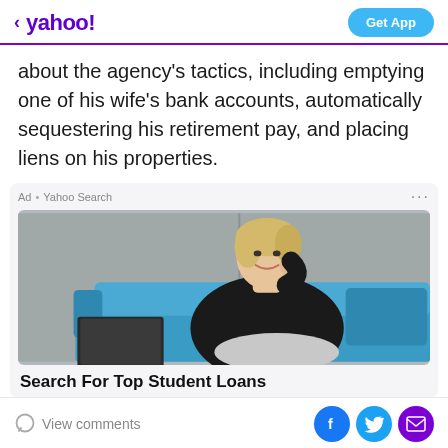< yahoo! | Get App
about the agency's tactics, including emptying one of his wife's bank accounts, automatically sequestering his retirement pay, and placing liens on his properties.
[Figure (photo): Yahoo Search advertisement showing a smiling blonde woman sitting on a blue sofa with a laptop, in front of a grey concrete wall background.]
Search For Top Student Loans
View comments